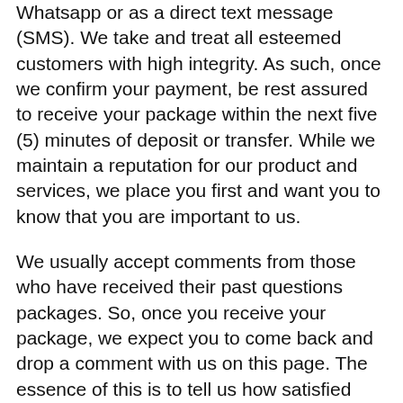Whatsapp or as a direct text message (SMS). We take and treat all esteemed customers with high integrity. As such, once we confirm your payment, be rest assured to receive your package within the next five (5) minutes of deposit or transfer. While we maintain a reputation for our product and services, we place you first and want you to know that you are important to us.
We usually accept comments from those who have received their past questions packages. So, once you receive your package, we expect you to come back and drop a comment with us on this page. The essence of this is to tell us how satisfied you are on receiving your package and also how soon you got to receive it. This helps us to either improve or adjust one way or the other. It also serves as a review to